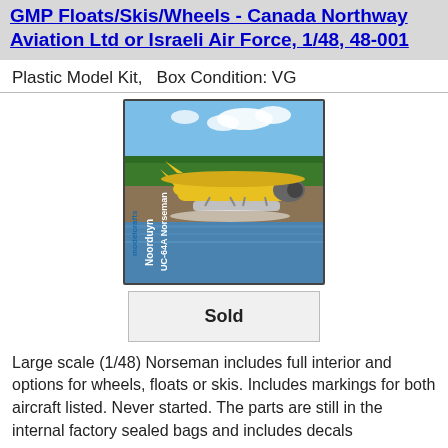GMP Floats/Skis/Wheels - Canada Northway Aviation Ltd or Israeli Air Force, 1/48, 48-001
Plastic Model Kit,   Box Condition: VG
[Figure (photo): Box art photo of Noorduyn UC-64A Norseman floatplane model kit, yellow aircraft on water with forest background]
Sold
Large scale (1/48) Norseman includes full interior and options for wheels, floats or skis. Includes markings for both aircraft listed. Never started. The parts are still in the internal factory sealed bags and includes decals